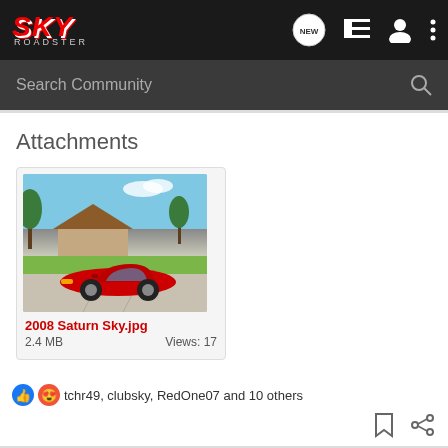[Figure (logo): SKY ROADSTER logo in red italic bold text on dark background]
Search Community
Attachments
[Figure (photo): Red 2008 Saturn Sky roadster parked in a suburban driveway with palm trees and a house in the background]
2008 Saturn Sky.jpg
2.4 MB    Views: 17
tchr49, clubsky, RedOne07 and 10 others